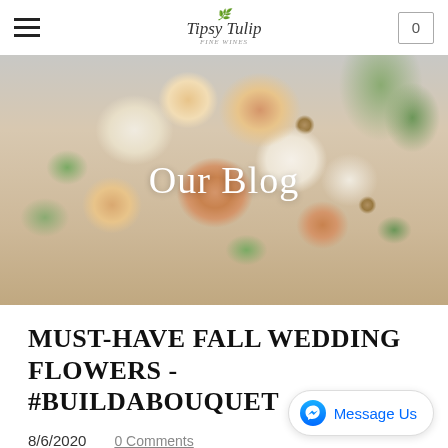Tipsy Tulip — navigation bar with hamburger menu, logo, and cart (0)
[Figure (photo): Hero banner showing a bride holding a lush wedding bouquet of cream, peach, golden roses and greenery. Overlaid text reads 'Our Blog'.]
MUST-HAVE FALL WEDDING FLOWERS - #BUILDABOUQUET
8/6/2020    0 Comments